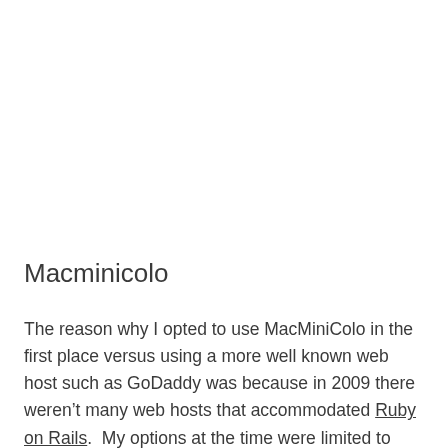Macminicolo
The reason why I opted to use MacMiniColo in the first place versus using a more well known web host such as GoDaddy was because in 2009 there weren't many web hosts that accommodated Ruby on Rails.  My options at the time were limited to paying an exorbitant monthly fee for a dedicated server, or to buy my own server.